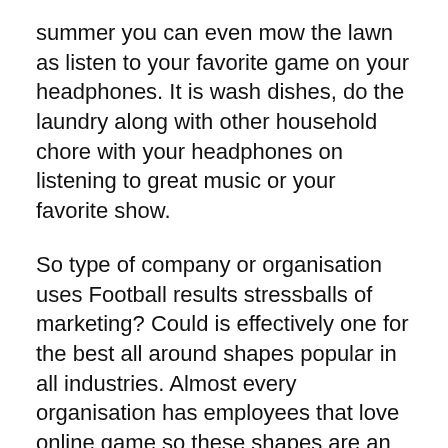summer you can even mow the lawn as listen to your favorite game on your headphones. It is wash dishes, do the laundry along with other household chore with your headphones on listening to great music or your favorite show.
So type of company or organisation uses Football results stressballs of marketing? Could is effectively one for the best all around shapes popular in all industries. Almost every organisation has employees that love online game so these shapes are an excellent promotional tool no matter who a person sending these phones.
Against The fishing line – Versus the Line provides college Football news and